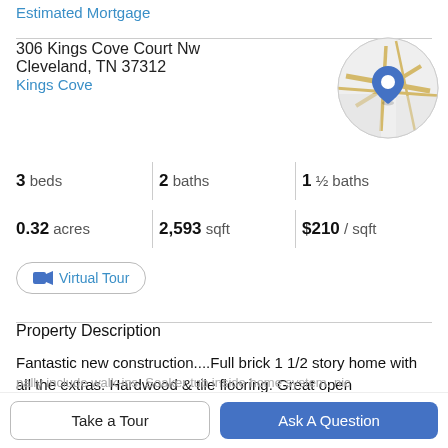Estimated Mortgage
306 Kings Cove Court Nw
Cleveland, TN 37312
Kings Cove
[Figure (map): Circular map thumbnail showing street map with blue location pin marker]
3 beds  |  2 baths  |  1 ½ baths
0.32 acres  |  2,593 sqft  |  $210 / sqft
Virtual Tour
Property Description
Fantastic new construction....Full brick 1 1/2 story home with all the extras. Hardwood & tile flooring. Great open
Take a Tour
Ask A Question